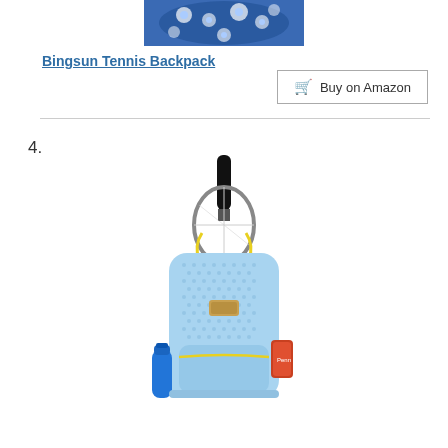[Figure (photo): Top portion of a blue patterned tennis backpack with floral design, cropped at the top of the page]
Bingsun Tennis Backpack
Buy on Amazon
4.
[Figure (photo): A light blue textured tennis backpack with yellow zipper accents, a tennis racket sticking out from the top, a water bottle on the left side, and accessories on the right side]